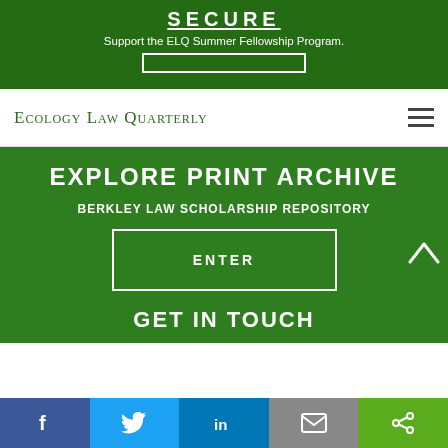SECURE
Support the ELQ Summer Fellowship Program.
[Figure (screenshot): Ecology Law Quarterly website navigation screenshot showing header logo and hamburger menu]
EXPLORE PRINT ARCHIVE
BERKLEY LAW SCHOLARSHIP REPOSITORY
ENTER
GET IN TOUCH
[Figure (infographic): Social media sharing bar with Facebook, Twitter, LinkedIn, Email, and Share icons]